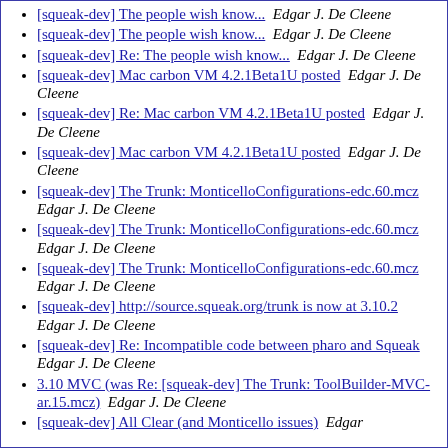[squeak-dev] The people wish know...  Edgar J. De Cleene
[squeak-dev] The people wish know...  Edgar J. De Cleene
[squeak-dev] Re: The people wish know...  Edgar J. De Cleene
[squeak-dev] Mac carbon VM 4.2.1Beta1U posted  Edgar J. De Cleene
[squeak-dev] Re: Mac carbon VM 4.2.1Beta1U posted  Edgar J. De Cleene
[squeak-dev] Mac carbon VM 4.2.1Beta1U posted  Edgar J. De Cleene
[squeak-dev] The Trunk: MonticelloConfigurations-edc.60.mcz  Edgar J. De Cleene
[squeak-dev] The Trunk: MonticelloConfigurations-edc.60.mcz  Edgar J. De Cleene
[squeak-dev] The Trunk: MonticelloConfigurations-edc.60.mcz  Edgar J. De Cleene
[squeak-dev] http://source.squeak.org/trunk is now at 3.10.2  Edgar J. De Cleene
[squeak-dev] Re: Incompatible code between pharo and Squeak  Edgar J. De Cleene
3.10 MVC (was Re: [squeak-dev] The Trunk: ToolBuilder-MVC-ar.15.mcz)  Edgar J. De Cleene
[squeak-dev] All Clear (and Monticello issues)  Edgar J. De Cleene